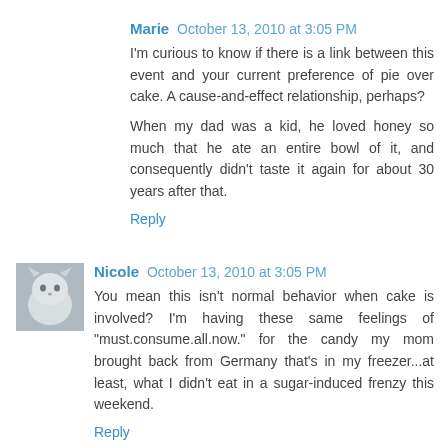Marie  October 13, 2010 at 3:05 PM
I'm curious to know if there is a link between this event and your current preference of pie over cake. A cause-and-effect relationship, perhaps?
When my dad was a kid, he loved honey so much that he ate an entire bowl of it, and consequently didn't taste it again for about 30 years after that.
Reply
Nicole  October 13, 2010 at 3:05 PM
You mean this isn't normal behavior when cake is involved? I'm having these same feelings of "must.consume.all.now." for the candy my mom brought back from Germany that's in my freezer...at least, what I didn't eat in a sugar-induced frenzy this weekend.
Reply